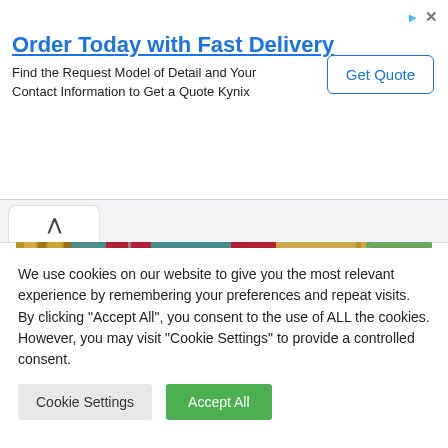[Figure (infographic): Advertisement banner: 'Order Today with Fast Delivery' with subtitle 'Find the Request Model of Detail and Your Contact Information to Get a Quote Kynix' and a 'Get Quote' button. Small ad icons (arrow and X) in top-right corner.]
[Figure (photo): Photo of what appears to be the Oval Office. Two figures visible: one person seen from the back in a dark suit, and President Biden seated at a desk, speaking. American flags, golden curtains, lamps, and a window with greenery in the background.]
We use cookies on our website to give you the most relevant experience by remembering your preferences and repeat visits. By clicking "Accept All", you consent to the use of ALL the cookies. However, you may visit "Cookie Settings" to provide a controlled consent.